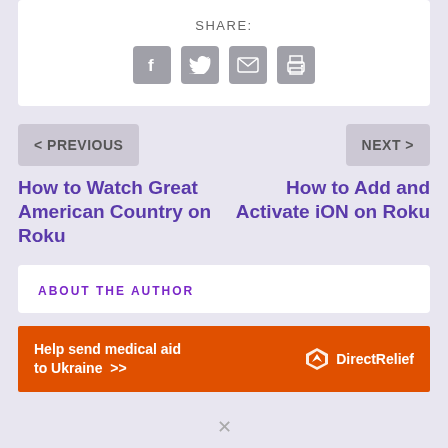SHARE:
[Figure (infographic): Four social share icon buttons: Facebook (f), Twitter (bird), Email (envelope), Print (printer) — all grey rounded squares]
< PREVIOUS
NEXT >
How to Watch Great American Country on Roku
How to Add and Activate iON on Roku
ABOUT THE AUTHOR
[Figure (infographic): Orange advertisement banner: 'Help send medical aid to Ukraine >>' with Direct Relief logo on the right]